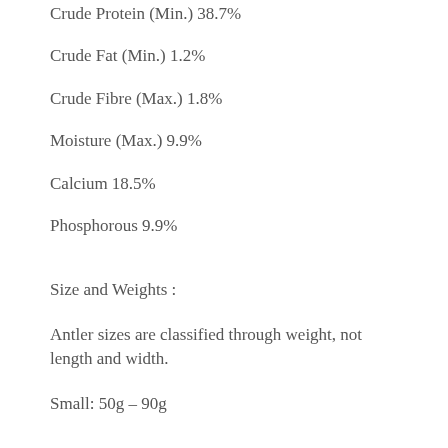Crude Protein (Min.) 38.7%
Crude Fat (Min.) 1.2%
Crude Fibre (Max.) 1.8%
Moisture (Max.) 9.9%
Calcium 18.5%
Phosphorous 9.9%
Size and Weights :
Antler sizes are classified through weight, not length and width.
Small: 50g – 90g